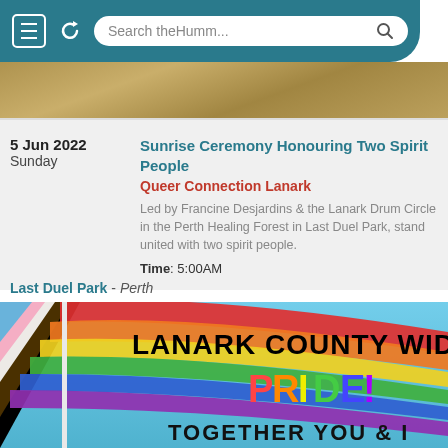Search theHumm...
[Figure (photo): Outdoor nature photo strip showing golden/brown grasses or hay]
5 Jun 2022
Sunday
Sunrise Ceremony Honouring Two Spirit People
Queer Connection Lanark
Led by Francine Desjardins & the Lanark Drum Circle in the Perth Healing Forest in Last Duel Park, stand united with two spirit people.
Time: 5:00AM
Last Duel Park - Perth
[Figure (illustration): Lanark County Wide Pride! Together You & I - colorful pride flag image with rainbow and progress pride flag colors on blue sky background]